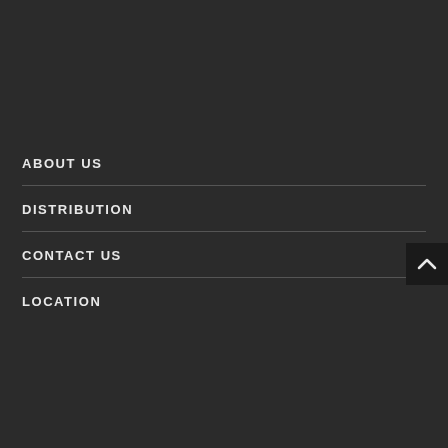ABOUT US
DISTRIBUTION
CONTACT US
LOCATION
[Figure (other): Scroll-to-top button with upward chevron arrow icon on dark background, positioned bottom-right corner]